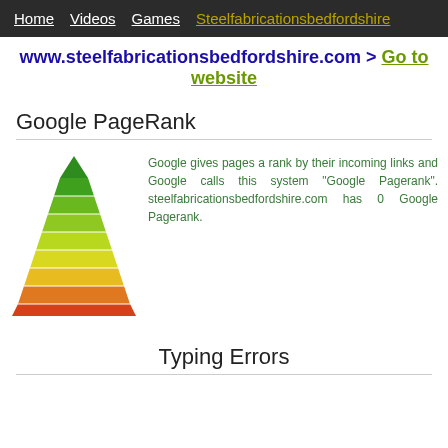Home  Videos  Games  Steelfabricationsbedfordshire
www.steelfabricationsbedfordshire.com > Go to website
Google PageRank
[Figure (illustration): A pyramid/triangle graphic with horizontal bands colored from green at the top to orange-red at the bottom, representing a PageRank scale.]
Google gives pages a rank by their incoming links and Google calls this system "Google Pagerank". steelfabricationsbedfordshire.com has 0 Google Pagerank.
Typing Errors